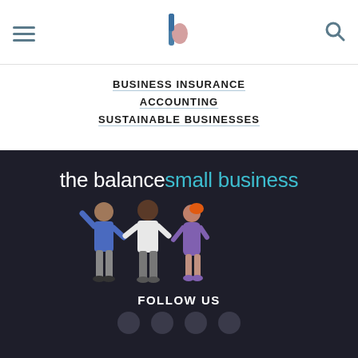BUSINESS INSURANCE
ACCOUNTING
SUSTAINABLE BUSINESSES
[Figure (logo): The Balance Small Business logo with illustration of three people on dark background]
FOLLOW US